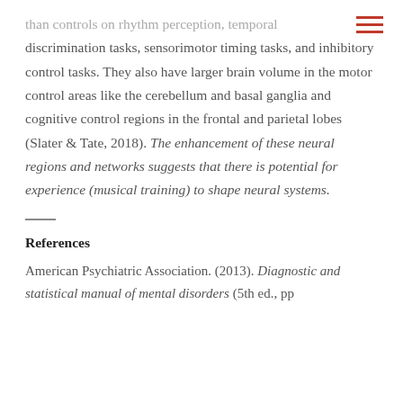☰
than controls on rhythm perception, temporal discrimination tasks, sensorimotor timing tasks, and inhibitory control tasks. They also have larger brain volume in the motor control areas like the cerebellum and basal ganglia and cognitive control regions in the frontal and parietal lobes (Slater & Tate, 2018). The enhancement of these neural regions and networks suggests that there is potential for experience (musical training) to shape neural systems.
References
American Psychiatric Association. (2013). Diagnostic and statistical manual of mental disorders (5th ed., pp